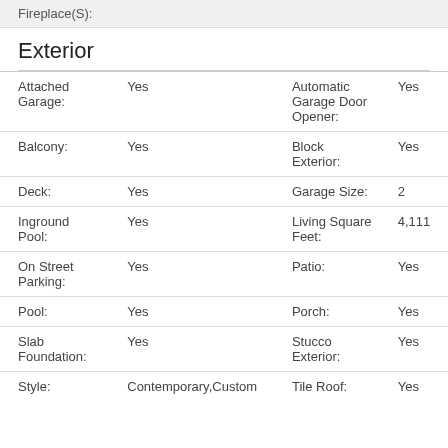Fireplace(S):
Exterior
| Field | Value | Field | Value |
| --- | --- | --- | --- |
| Attached Garage: | Yes | Automatic Garage Door Opener: | Yes |
| Balcony: | Yes | Block Exterior: | Yes |
| Deck: | Yes | Garage Size: | 2 |
| Inground Pool: | Yes | Living Square Feet: | 4,111 |
| On Street Parking: | Yes | Patio: | Yes |
| Pool: | Yes | Porch: | Yes |
| Slab Foundation: | Yes | Stucco Exterior: | Yes |
| Style: | Contemporary,Custom | Tile Roof: | Yes |